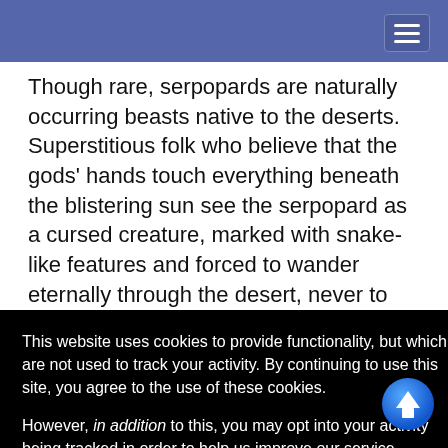Though rare, serpopards are naturally occurring beasts native to the deserts. Superstitious folk who believe that the gods’ hands touch everything beneath the blistering sun see the serpopard as a cursed creature, marked with snake-like features and forced to wander eternally through the desert, never to find rest or sanctuary. On the other hand, …overed …it clear that …ets or servants, …e oldest of …ared, bowing …et tall at the …xtended, the… …nose to tail. …0 to 200 lbs.
This website uses cookies to provide functionality, but which are not used to track your activity. By continuing to use this site, you agree to the use of these cookies.

However, in addition to this, you may opt into your activity being tracked in order to help us improve our service.

For more information, please click here
OK
No, thank you